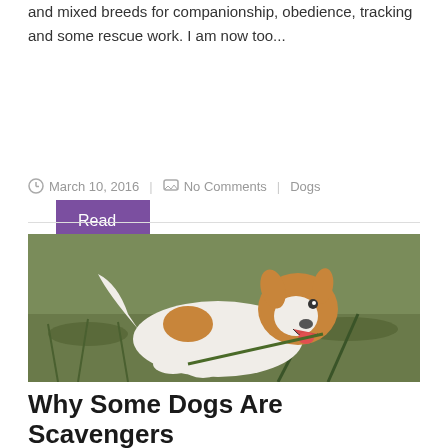and mixed breeds for companionship, obedience, tracking and some rescue work. I am now too...
Read more...
March 10, 2016  |  No Comments  |  Dogs
[Figure (photo): A Jack Russell Terrier puppy lying on grass, chewing on a blade of grass, looking happy with mouth open.]
Why Some Dogs Are Scavengers